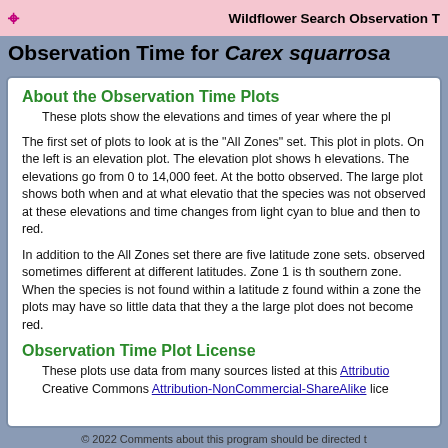Wildflower Search Observation T
Observation Time for Carex squarrosa
About the Observation Time Plots
These plots show the elevations and times of year where the pl
The first set of plots to look at is the "All Zones" set. This plot in plots. On the left is an elevation plot. The elevation plot shows h elevations. The elevations go from 0 to 14,000 feet. At the botto observed. The large plot shows both when and at what elevatio that the species was not observed at these elevations and time changes from light cyan to blue and then to red.
In addition to the All Zones set there are five latitude zone sets. observed sometimes different at different latitudes. Zone 1 is th southern zone. When the species is not found within a latitude z found within a zone the plots may have so little data that they a the large plot does not become red.
Observation Time Plot License
These plots use data from many sources listed at this Attribution Creative Commons Attribution-NonCommercial-ShareAlike lice
© 2022 Comments about this program should be directed t